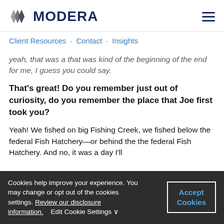MODERA
Client Resources · Contact · Insights
yeah, that was a that was kind of the beginning of the end for me, I guess you could say.
That's great! Do you remember just out of curiosity, do you remember the place that Joe first took you?
Yeah! We fished on big Fishing Creek, we fished below the federal Fish Hatchery—or behind the the federal Fish Hatchery. And no, it was a day I'll
Cookies help improve your experience. You may change or opt out of the cookies settings. Review our disclosure information.    Edit Cookie Settings ∨